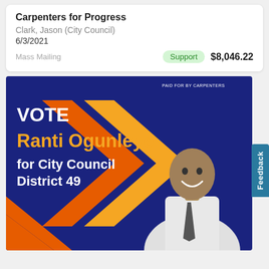Carpenters for Progress
Clark, Jason (City Council)
6/3/2021
Mass Mailing  Support  $8,046.22
[Figure (photo): Campaign mailer image for Ranti Ogunleye for City Council District 49, paid for by Carpenters. Blue and orange background with large text 'VOTE Ranti Ogunleye for City Council District 49' and a smiling man in a white suit with a dark tie.]